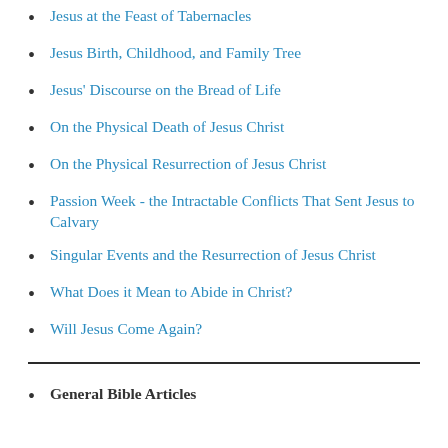Jesus at the Feast of Tabernacles
Jesus Birth, Childhood, and Family Tree
Jesus' Discourse on the Bread of Life
On the Physical Death of Jesus Christ
On the Physical Resurrection of Jesus Christ
Passion Week - the Intractable Conflicts That Sent Jesus to Calvary
Singular Events and the Resurrection of Jesus Christ
What Does it Mean to Abide in Christ?
Will Jesus Come Again?
General Bible Articles